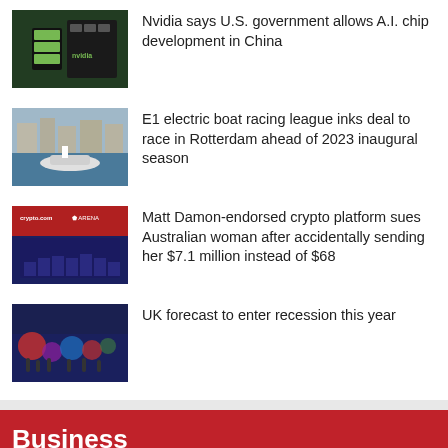Nvidia says U.S. government allows A.I. chip development in China
E1 electric boat racing league inks deal to race in Rotterdam ahead of 2023 inaugural season
Matt Damon-endorsed crypto platform sues Australian woman after accidentally sending her $7.1 million instead of $68
UK forecast to enter recession this year
Business
UK forecast to enter recession this year